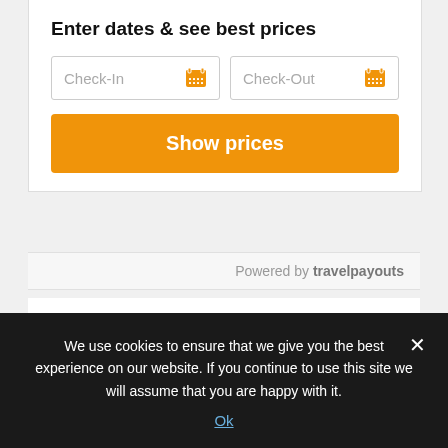Enter dates & see best prices
[Figure (screenshot): Hotel booking widget with Check-In and Check-Out date input fields and a Show prices button]
Powered by travelpayouts
The Grand Hotel is a 5-star luxury experience for couples and families. With a surplus of remarkable activities for everyone to enjoy throughout the season, it is no wonder it is dubbed America's Favorite Summer Place.
We use cookies to ensure that we give you the best experience on our website. If you continue to use this site we will assume that you are happy with it.
Ok